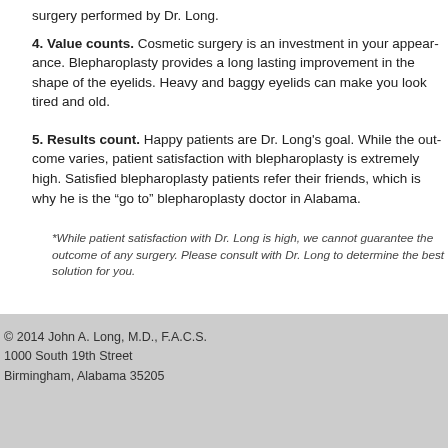surgery performed by Dr. Long.
4. Value counts. Cosmetic surgery is an investment in your appear... lasting improvement in the shape of the eyelids. Heavy and baggy e...
5. Results count. Happy patients are Dr. Long's goal. While the ou... with blepharoplasty is extremely high. Satisfied blepharoplasty patie... he is the “go to” blepharoplasty doctor in Alabama.
*While patient satisfaction with Dr. Long is high, we cannot guarantee the outcome of any su... Long to determine the best solution for you.
© 2014 John A. Long, M.D., F.A.C.S.
1000 South 19th Street
Birmingham, Alabama 35205